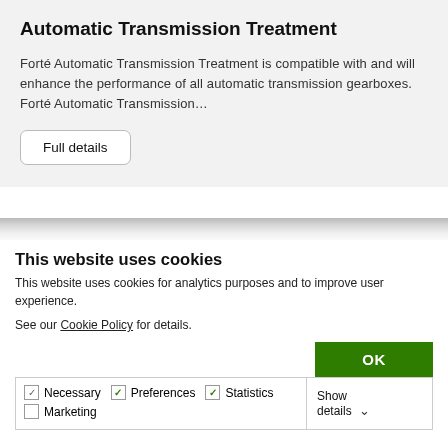Automatic Transmission Treatment
Forté Automatic Transmission Treatment is compatible with and will enhance the performance of all automatic transmission gearboxes. Forté Automatic Transmission…
Full details
This website uses cookies
This website uses cookies for analytics purposes and to improve user experience.
See our Cookie Policy for details.
OK
| Necessary | Preferences | Statistics | Show details |
| Marketing |  |  |  |